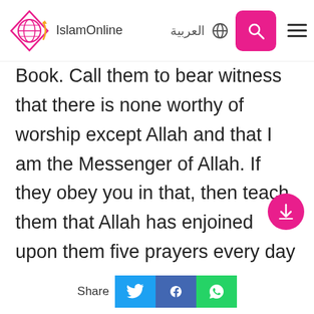IslamOnline | العربية
Book. Call them to bear witness that there is none worthy of worship except Allah and that I am the Messenger of Allah. If they obey you in that, then teach them that Allah has enjoined upon them five prayers every day and night. If they obey you in that, then teach them that Allah has enjoined upon them Sadaqah (Zakah) from their wealth, to be taken from their rich and given to their poor. If they obey you in that, then do not touch the most precious of their wealth, and fear